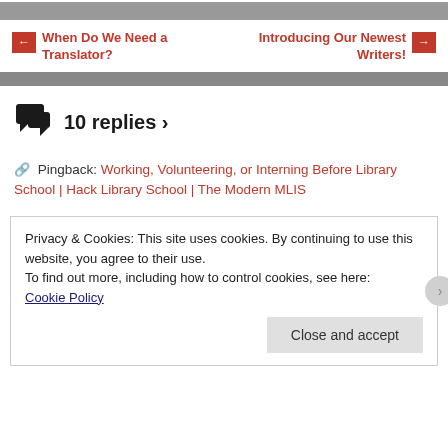← When Do We Need a Translator?    Introducing Our Newest Writers! →
10 replies ›
Pingback: Working, Volunteering, or Interning Before Library School | Hack Library School | The Modern MLIS
Privacy & Cookies: This site uses cookies. By continuing to use this website, you agree to their use.
To find out more, including how to control cookies, see here:
Cookie Policy
Close and accept